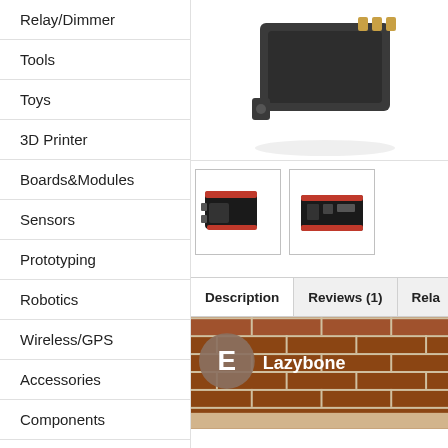Relay/Dimmer
Tools
Toys
3D Printer
Boards&Modules
Sensors
Prototyping
Robotics
Wireless/GPS
Accessories
Components
PCB/PCBA
Retired
[Figure (photo): Dark electronic device/module with gold connectors on top, product photo on white background]
[Figure (photo): Thumbnail 1: Small black electronic module with red accents]
[Figure (photo): Thumbnail 2: Lazybone electronic module, top view]
Description
Reviews (1)
Rela
[Figure (photo): Lazybone product video thumbnail showing brick wall background with E avatar and Lazybone text]